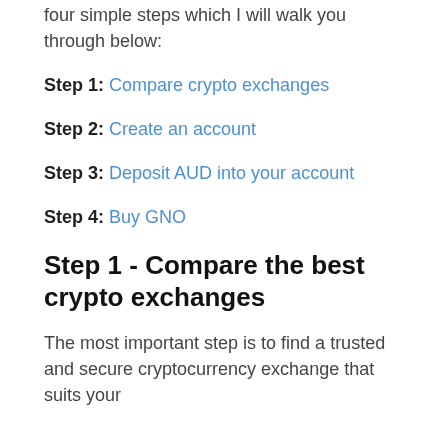Buying GNO in Australia is easy, it only takes four simple steps which I will walk you through below:
Step 1: Compare crypto exchanges
Step 2: Create an account
Step 3: Deposit AUD into your account
Step 4: Buy GNO
Step 1 - Compare the best crypto exchanges
The most important step is to find a trusted and secure cryptocurrency exchange that suits your